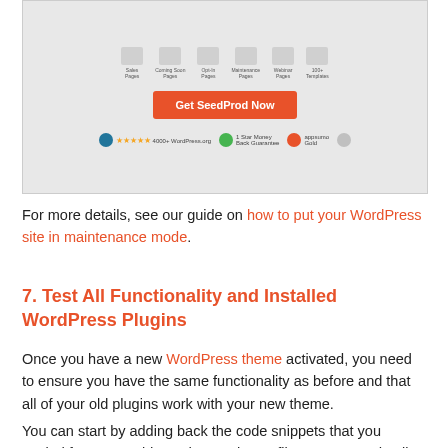[Figure (screenshot): Screenshot of SeedProd plugin page showing icons for Sales Pages, Coming Soon, Opt-In, Maintenance, Webinar, and 100+ Templates, with an orange 'Get SeedProd Now' button and trust badges below.]
For more details, see our guide on how to put your WordPress site in maintenance mode.
7. Test All Functionality and Installed WordPress Plugins
Once you have a new WordPress theme activated, you need to ensure you have the same functionality as before and that all of your old plugins work with your new theme.
You can start by adding back the code snippets that you copied from your old WordPress theme files. For more details, see our beginner's guide to posting